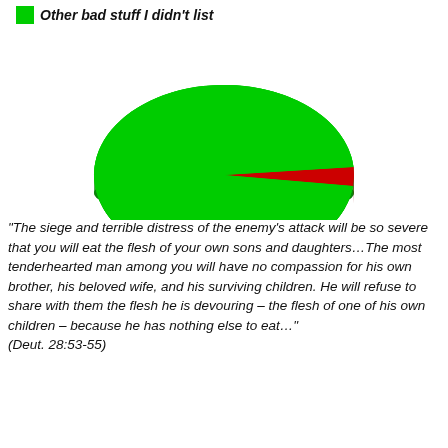[Figure (pie-chart): Other bad stuff I didn't list]
“The siege and terrible distress of the enemy’s attack will be so severe that you will eat the flesh of your own sons and daughters…The most tenderhearted man among you will have no compassion for his own brother, his beloved wife, and his surviving children.  He will refuse to share with them the flesh he is devouring – the flesh of one of his own children – because he has nothing else to eat…” (Deut. 28:53-55)